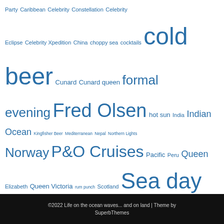Party Caribbean Celebrity Constellation Celebrity Eclipse Celebrity Xpedition China choppy sea cocktails cold beer Cunard Cunard queen formal evening Fred Olsen hot sun India Indian Ocean Kingfisher Beer Mediterranean Nepal Northern Lights Norway P&O Cruises Pacific Peru Queen Elizabeth Queen Victoria rum punch Scotland Sea day Titanic Titanic Memorial Cruise transatlantic Travelsphere Ventura Voyager Voyages of Discovery
©2022 Life on the ocean waves... and on land | Theme by SuperbThemes